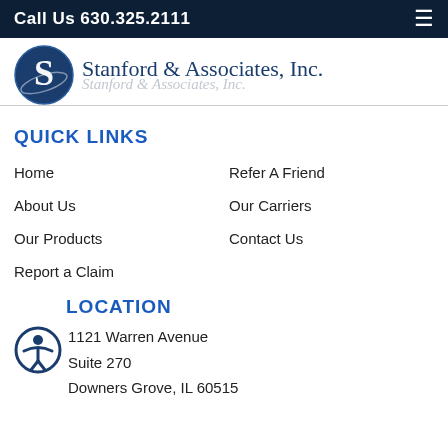Call Us 630.325.2111
[Figure (logo): Stanford & Associates, Inc. logo with blue oval containing stylized S and company name in serif font]
QUICK LINKS
Home
Refer A Friend
About Us
Our Carriers
Our Products
Contact Us
Report a Claim
LOCATION
1121 Warren Avenue
Suite 270
Downers Grove, IL 60515